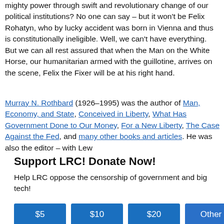mighty power through swift and revolutionary change of our political institutions? No one can say – but it won't be Felix Rohatyn, who by lucky accident was born in Vienna and thus is constitutionally ineligible. Well, we can't have everything. But we can all rest assured that when the Man on the White Horse, our humanitarian armed with the guillotine, arrives on the scene, Felix the Fixer will be at his right hand.
Murray N. Rothbard (1926–1995) was the author of Man, Economy, and State, Conceived in Liberty, What Has Government Done to Our Money, For a New Liberty, The Case Against the Fed, and many other books and articles. He was also the editor – with Lew
Support LRC! Donate Now!
Help LRC oppose the censorship of government and big tech!